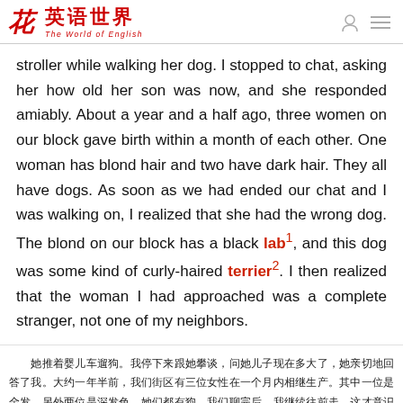英语世界 The World of English
stroller while walking her dog. I stopped to chat, asking her how old her son was now, and she responded amiably. About a year and a half ago, three women on our block gave birth within a month of each other. One woman has blond hair and two have dark hair. They all have dogs. As soon as we had ended our chat and I was walking on, I realized that she had the wrong dog. The blond on our block has a black lab¹, and this dog was some kind of curly-haired terrier². I then realized that the woman I had approached was a complete stranger, not one of my neighbors.
[Chinese translation text]